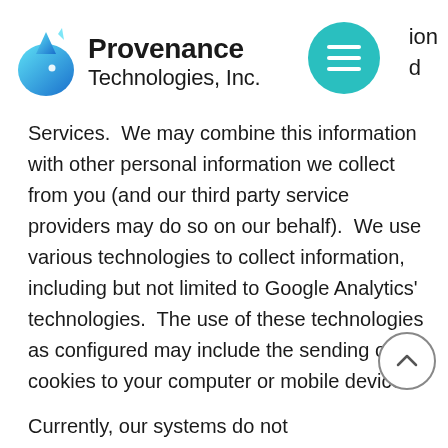Provenance Technologies, Inc.
Services.  We may combine this information with other personal information we collect from you (and our third party service providers may do so on our behalf).  We use various technologies to collect information, including but not limited to Google Analytics' technologies.  The use of these technologies as configured may include the sending of cookies to your computer or mobile device.
Currently, our systems do not